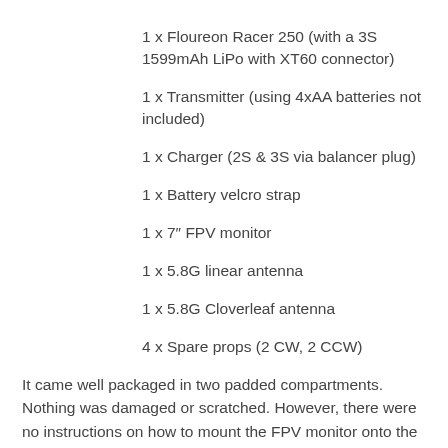1 x Floureon Racer 250 (with a 3S 1599mAh LiPo with XT60 connector)
1 x Transmitter (using 4xAA batteries not included)
1 x Charger (2S & 3S via balancer plug)
1 x Battery velcro strap
1 x 7″ FPV monitor
1 x 5.8G linear antenna
1 x 5.8G Cloverleaf antenna
4 x Spare props (2 CW, 2 CCW)
It came well packaged in two padded compartments. Nothing was damaged or scratched. However, there were no instructions on how to mount the FPV monitor onto the transmitter. I managed to figured out how it was done pretty quickly though!
First Impressions Of The Floureon Racer 250 :